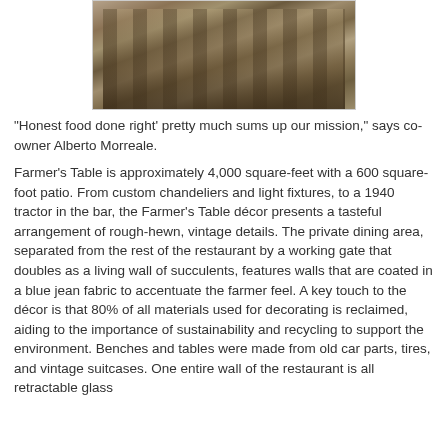[Figure (photo): Interior dining area of Farmer's Table restaurant showing long wooden tables with floral-upholstered chairs arranged in rows, with plants and rustic decor in the background.]
"Honest food done right' pretty much sums up our mission," says co-owner Alberto Morreale.
Farmer's Table is approximately 4,000 square-feet with a 600 square-foot patio. From custom chandeliers and light fixtures, to a 1940 tractor in the bar, the Farmer's Table décor presents a tasteful arrangement of rough-hewn, vintage details. The private dining area, separated from the rest of the restaurant by a working gate that doubles as a living wall of succulents, features walls that are coated in a blue jean fabric to accentuate the farmer feel. A key touch to the décor is that 80% of all materials used for decorating is reclaimed, aiding to the importance of sustainability and recycling to support the environment. Benches and tables were made from old car parts, tires, and vintage suitcases. One entire wall of the restaurant is all retractable glass